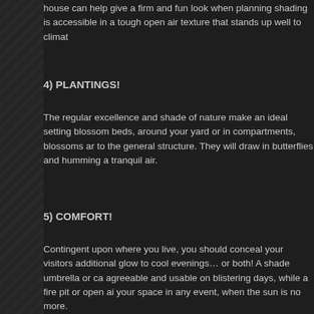house can help give a firm and fun look when planning shading is accessible in a tough open air texture that stands up well to climat
4) PLANTINGS!
The regular excellence and shade of nature make an ideal setting blossom beds, around your yard or in compartments, blossoms ar to the general structure. They will draw in butterflies and humming a tranquil air.
5) COMFORT!
Contingent upon where you live, you should conceal your visitors additional glow to cool evenings… or both! A shade umbrella or ca agreeable and usable on blistering days, while a fire pit or open ai your space in any event, when the sun is no more.
6) PLAY EQUIPMENT!
Remember the kiddos. On the off chance that you need your spac causing everybody to feel welcome. The little ones will value havin